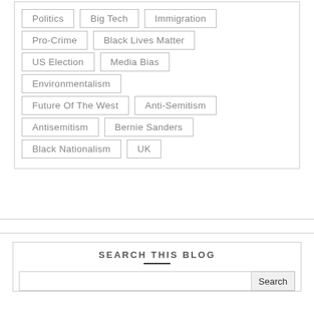Politics
Big Tech
Immigration
Pro-Crime
Black Lives Matter
US Election
Media Bias
Environmentalism
Future Of The West
Anti-Semitism
Antisemitism
Bernie Sanders
Black Nationalism
UK
SEARCH THIS BLOG